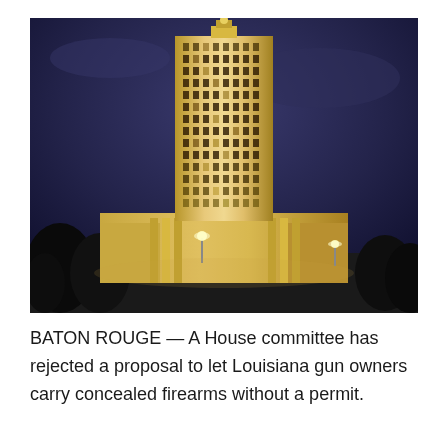[Figure (photo): Night photograph of the Louisiana State Capitol building in Baton Rouge, illuminated against a dark blue evening sky. The tall Art Deco tower rises prominently in the center with lit windows. Trees are silhouetted in the foreground and street lamps are visible near the building's base.]
BATON ROUGE — A House committee has rejected a proposal to let Louisiana gun owners carry concealed firearms without a permit.